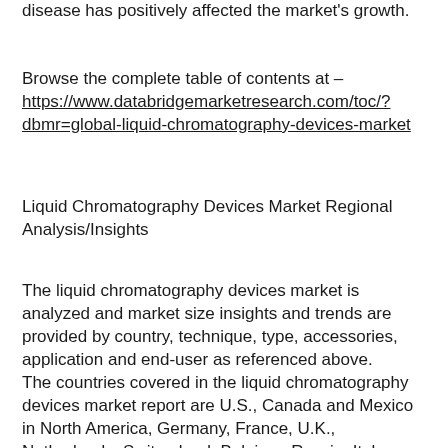disease has positively affected the market's growth.
Browse the complete table of contents at – https://www.databridgemarketresearch.com/toc/?dbmr=global-liquid-chromatography-devices-market
Liquid Chromatography Devices Market Regional Analysis/Insights
The liquid chromatography devices market is analyzed and market size insights and trends are provided by country, technique, type, accessories, application and end-user as referenced above.
The countries covered in the liquid chromatography devices market report are U.S., Canada and Mexico in North America, Germany, France, U.K., Netherlands, Switzerland, Belgium, Russia, Italy, Spain, Turkey, Rest of Europe in